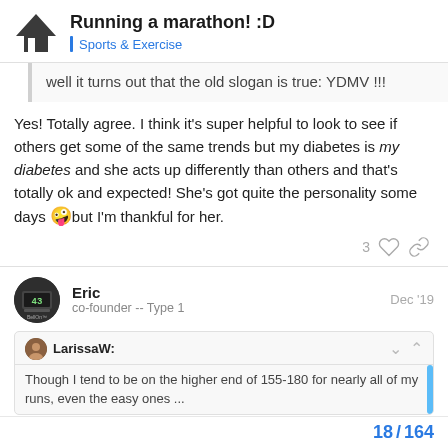Running a marathon! :D | Sports & Exercise
well it turns out that the old slogan is true: YDMV !!!
Yes! Totally agree. I think it's super helpful to look to see if others get some of the same trends but my diabetes is my diabetes and she acts up differently than others and that's totally ok and expected! She's got quite the personality some days 🤪 but I'm thankful for her.
3 ♡ 🔗
Eric
co-founder -- Type 1
Dec '19
LarissaW:
Though I tend to be on the higher end of 155-180 for nearly all of my runs, even the easy ones ...
18 / 164